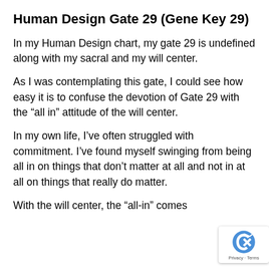Human Design Gate 29 (Gene Key 29)
In my Human Design chart, my gate 29 is undefined along with my sacral and my will center.
As I was contemplating this gate, I could see how easy it is to confuse the devotion of Gate 29 with the “all in” attitude of the will center.
In my own life, I’ve often struggled with commitment. I’ve found myself swinging from being all in on things that don’t matter at all and not in at all on things that really do matter.
With the will center, the “all-in” comes